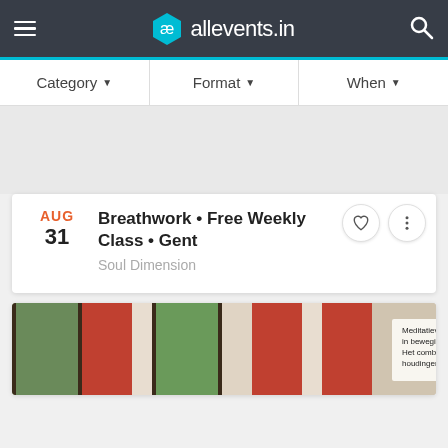ae allevents.in
Category ▾   Format ▾   When ▾
[Figure (screenshot): Gray banner/advertisement area]
AUG 31   Breathwork • Free Weekly Class • Gent   Soul Dimension
[Figure (photo): Interior photo of a room with red and white striped walls and large windows showing greenery outside, with a sign reading 'Meditatieve Yoga is meditatie in beweging. Het combineert Yoga-houdingen & meditatie- en']